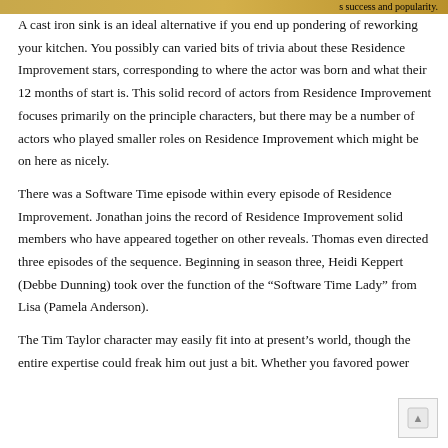s success and popularity.
A cast iron sink is an ideal alternative if you end up pondering of reworking your kitchen. You possibly can varied bits of trivia about these Residence Improvement stars, corresponding to where the actor was born and what their 12 months of start is. This solid record of actors from Residence Improvement focuses primarily on the principle characters, but there may be a number of actors who played smaller roles on Residence Improvement which might be on here as nicely.
There was a Software Time episode within every episode of Residence Improvement. Jonathan joins the record of Residence Improvement solid members who have appeared together on other reveals. Thomas even directed three episodes of the sequence. Beginning in season three, Heidi Keppert (Debbe Dunning) took over the function of the “Software Time Lady” from Lisa (Pamela Anderson).
The Tim Taylor character may easily fit into at present’s world, though the entire expertise could freak him out just a bit. Whether you favored power